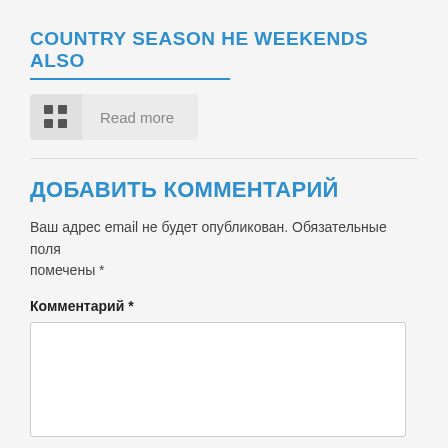COUNTRY SEASON HE WEEKENDS ALSO
Read more
ДОБАВИТЬ КОММЕНТАРИЙ
Ваш адрес email не будет опубликован. Обязательные поля помечены *
Комментарий *